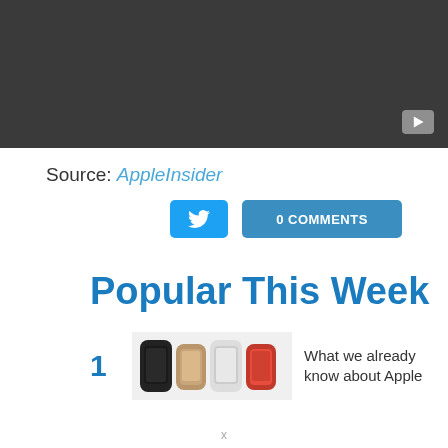[Figure (screenshot): Dark gray video player banner with a YouTube play button in the bottom right corner]
Source: AppleInsider
[Figure (other): Twitter share button (blue) and '0 COMMENTS' button (steel blue)]
Popular This Week
1
[Figure (photo): Multiple Apple Watch models in different colors lined up]
What we already know about Apple